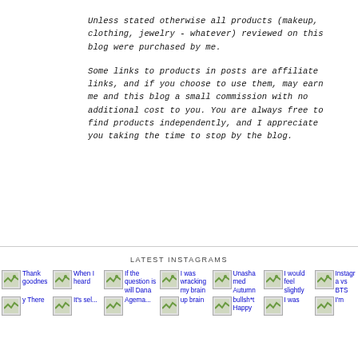Unless stated otherwise all products (makeup, clothing, jewelry - whatever) reviewed on this blog were purchased by me.
Some links to products in posts are affiliate links, and if you choose to use them, may earn me and this blog a small commission with no additional cost to you. You are always free to find products independently, and I appreciate you taking the time to stop by the blog.
LATEST INSTAGRAMS
[Figure (photo): Instagram thumbnail grid with broken image icons and link text: Thank goodness, When I heard, If the question is will Dana, I was wracking my brain, Unashamed Autumn, I would feel slightly, Instagram vs BTS, There, It's sel..., Agema..., ..., bullsh*t Happy, I was, I'm]